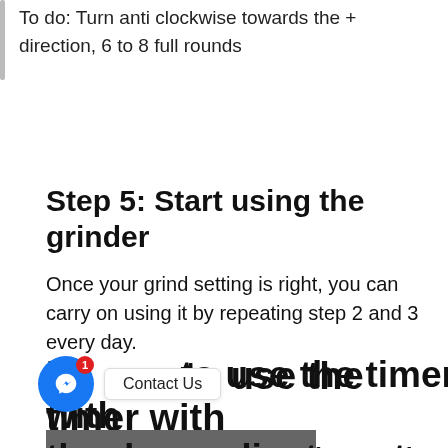To do: Turn anti clockwise towards the + direction, 6 to 8 full rounds
Step 5: Start using the grinder
Once your grind setting is right, you can carry on using it by repeating step 2 and 3 every day.
How to use the timer with the dose adjustment control
[Figure (photo): Partial photo strip at bottom of page]
Contact Us